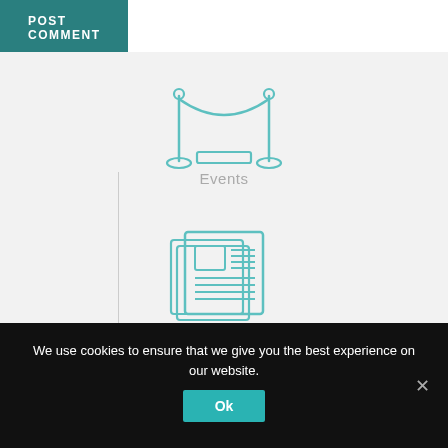[Figure (other): POST COMMENT button in teal/dark green color]
[Figure (illustration): Teal outline icon of a velvet rope barrier (stanchion with rope) used for events]
Events
[Figure (illustration): Teal outline icon of a newspaper]
News
We use cookies to ensure that we give you the best experience on our website.
Ok